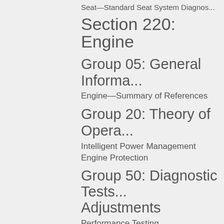Seat—Standard Seat System Diagno...
Section 220: Engine
Group 05: General Informa...
Engine—Summary of References
Group 20: Theory of Opera...
Intelligent Power Management
Engine Protection
Group 50: Diagnostic Tests... Adjustments
Performance Testing
Performance Variables
Torque and Power Curve Explanation...
Section 229: Engine C... Information
Group 05: General fo...